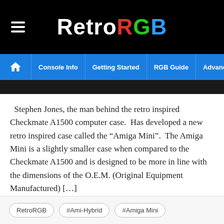RetroRGB
[Figure (screenshot): Navigation bar with hamburger menu, RetroRGB logo with colored letters, and navigation links: Console Info, Getting Started, RGB Guide, Advanced RGB Info, Ab...]
Stephen Jones, the man behind the retro inspired Checkmate A1500 computer case.  Has developed a new retro inspired case called the “Amiga Mini”.  The Amiga Mini is a slightly smaller case when compared to the Checkmate A1500 and is designed to be more in line with the dimensions of the O.E.M. (Original Equipment Manufactured) […]
Continue Reading ›
RetroRGB
#Ami-Hybrid
#Amiga Mini